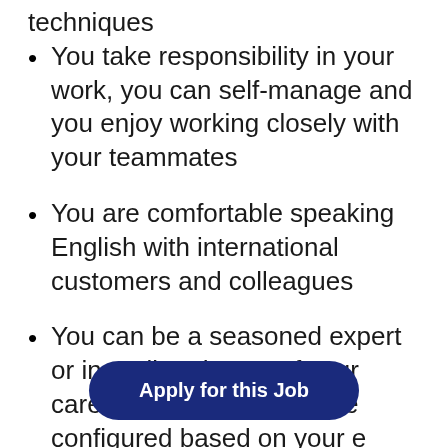techniques
You take responsibility in your work, you can self-manage and you enjoy working closely with your teammates
You are comfortable speaking English with international customers and colleagues
You can be a seasoned expert or in earlier phases of your career. The position will be configured based on your e…
Apply for this Job